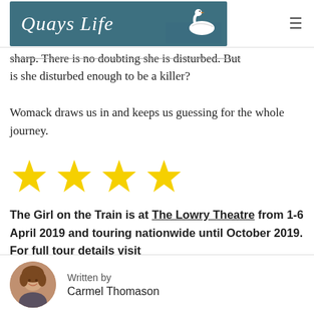Quays Life
sharp. There is no doubting she is disturbed. But is she disturbed enough to be a killer?
Womack draws us in and keeps us guessing for the whole journey.
[Figure (other): Four yellow star rating icons]
The Girl on the Train is at The Lowry Theatre from 1-6 April 2019 and touring nationwide until October 2019. For full tour details visit
Written by
Carmel Thomason